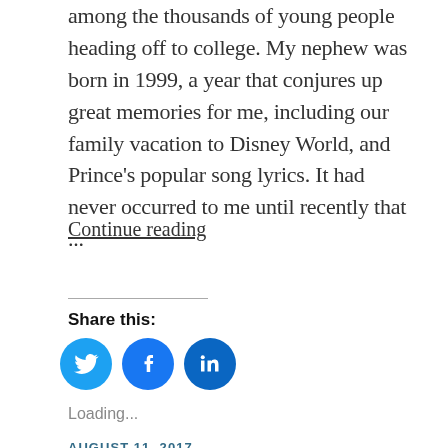among the thousands of young people heading off to college.  My nephew was born in 1999, a year that conjures up great memories for me, including our family vacation to Disney World, and Prince's popular song lyrics.  It had never occurred to me until recently that ...
Continue reading
[Figure (infographic): Social share buttons: Twitter (blue bird icon), Facebook (blue f icon), LinkedIn (blue in icon)]
Loading...
AUGUST 11, 2017
Props To Generation X for Quietly